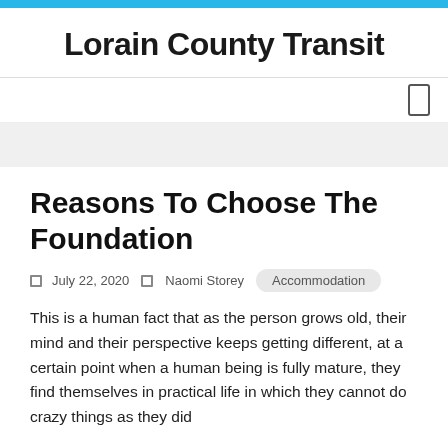Lorain County Transit
Reasons To Choose The Foundation
July 22, 2020  Naomi Storey  Accommodation
This is a human fact that as the person grows old, their mind and their perspective keeps getting different, at a certain point when a human being is fully mature, they find themselves in practical life in which they cannot do crazy things as they did before, at that same age, they need the support of good place